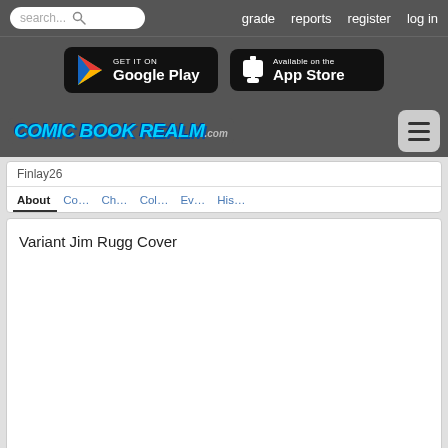search... grade reports register log in
[Figure (screenshot): Google Play and App Store download buttons on dark gray background]
[Figure (logo): Comic Book Realm .com logo with hamburger menu button]
Finlay26
About Co... Ch... Col... Ev... His...
Variant Jim Rugg Cover